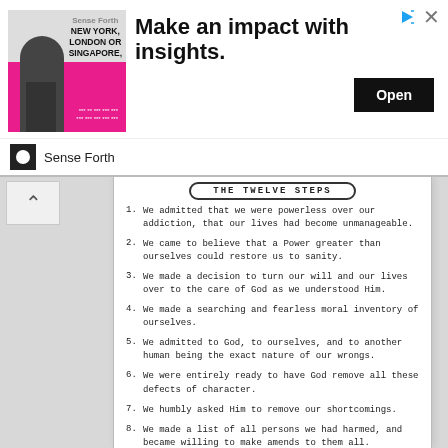[Figure (other): Advertisement banner: image of businessman with pink background, text 'NEW YORK, LONDON OR SINGAPORE,' with headline 'Make an impact with insights.' and an Open button. Sense Forth logo and company name below.]
THE TWELVE STEPS
1. We admitted that we were powerless over our addiction, that our lives had become unmanageable.
2. We came to believe that a Power greater than ourselves could restore us to sanity.
3. We made a decision to turn our will and our lives over to the care of God as we understood Him.
4. We made a searching and fearless moral inventory of ourselves.
5. We admitted to God, to ourselves, and to another human being the exact nature of our wrongs.
6. We were entirely ready to have God remove all these defects of character.
7. We humbly asked Him to remove our shortcomings.
8. We made a list of all persons we had harmed, and became willing to make amends to them all.
9. We made direct amends to such people wherever possible, except when to do so would injure them or others.
10. We continued to take personal inventory, and when we were wrong promptly...